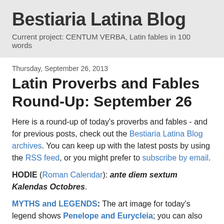Bestiaria Latina Blog
Current project: CENTUM VERBA, Latin fables in 100 words
Thursday, September 26, 2013
Latin Proverbs and Fables Round-Up: September 26
Here is a round-up of today's proverbs and fables - and for previous posts, check out the Bestiaria Latina Blog archives. You can keep up with the latest posts by using the RSS feed, or you might prefer to subscribe by email.
HODIE (Roman Calendar): ante diem sextum Kalendas Octobres.
MYTHS and LEGENDS: The art image for today's legend shows Penelope and Eurycleia; you can also see the